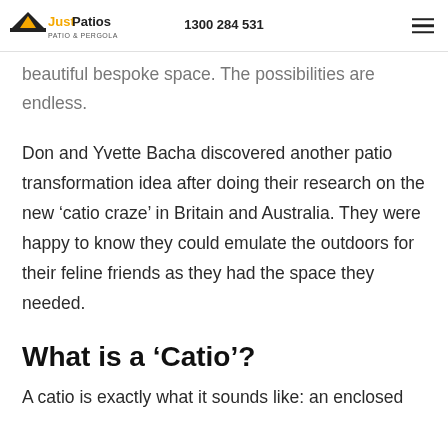ways you can spruce up or redecorate your room e...ure a simple home extension into
Just Patios | 1300 284 531
beautiful bespoke space. The possibilities are endless.
Don and Yvette Bacha discovered another patio transformation idea after doing their research on the new ‘catio craze’ in Britain and Australia. They were happy to know they could emulate the outdoors for their feline friends as they had the space they needed.
What is a ‘Catio’?
A catio is exactly what it sounds like: an enclosed